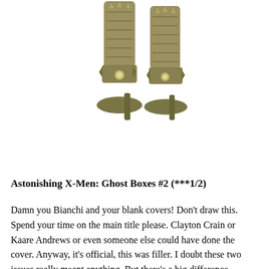[Figure (illustration): Detailed illustration of ornate fantasy-style high-heeled boots with decorative metallic spiked and floral embellishments, shown from the shins down against a white background.]
Astonishing X-Men: Ghost Boxes #2 (***1/2)
Damn you Bianchi and your blank covers! Don't draw this. Spend your time on the main title please. Clayton Crain or Kaare Andrews or even someone else could have done the cover. Anyway, it's official, this was filler. I doubt these two issues really meant anything. But there's a big difference between regular filler and Ellis filler. This issue was so sad! Last issue was about the different Subject X's. This issue is about the different results the Ghost Boxes